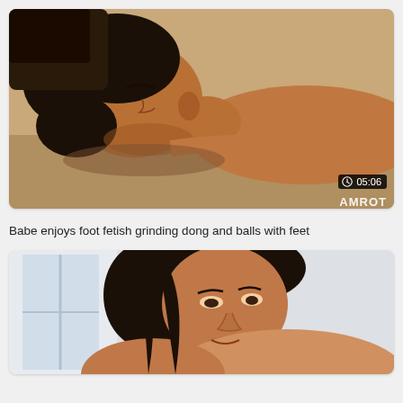[Figure (photo): Video thumbnail showing a person lying on their back on a surface, close-up of face and upper body, warm tones. Duration badge shows 05:06 with clock icon. Partial watermark text visible at bottom right.]
Babe enjoys foot fetish grinding dong and balls with feet
[Figure (photo): Video thumbnail showing a dark-haired woman leaning forward, close-up, bright indoor background with window light.]